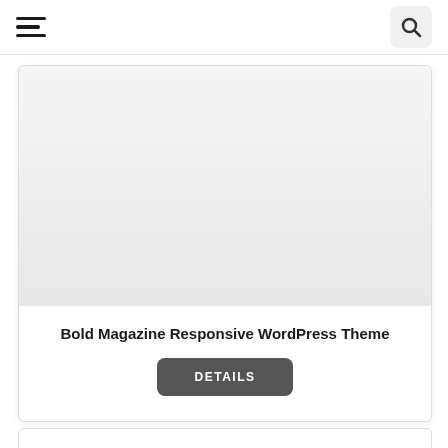Navigation bar with hamburger menu and search button
[Figure (screenshot): Card with a light gray image placeholder area at the top]
Bold Magazine Responsive WordPress Theme
DETAILS